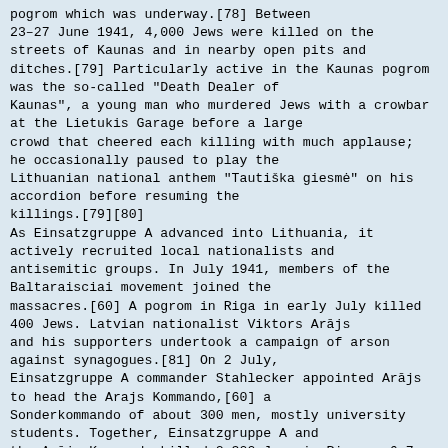pogrom which was underway.[78] Between 23–27 June 1941, 4,000 Jews were killed on the streets of Kaunas and in nearby open pits and ditches.[79] Particularly active in the Kaunas pogrom was the so-called "Death Dealer of Kaunas", a young man who murdered Jews with a crowbar at the Lietukis Garage before a large crowd that cheered each killing with much applause; he occasionally paused to play the Lithuanian national anthem "Tautiška giesmė" on his accordion before resuming the killings.[79][80]
As Einsatzgruppe A advanced into Lithuania, it actively recruited local nationalists and antisemitic groups. In July 1941, members of the Baltaraisciai movement joined the massacres.[60] A pogrom in Riga in early July killed 400 Jews. Latvian nationalist Viktors Arājs and his supporters undertook a campaign of arson against synagogues.[81] On 2 July, Einsatzgruppe A commander Stahlecker appointed Arājs to head the Arajs Kommando,[60] a Sonderkommando of about 300 men, mostly university students. Together, Einsatzgruppe A and the Arājs Kommando killed 2,300 Jews in Riga on 6–7 July.[81] Within six months, Arājs and his men would kill about half of Latvia's Jewish population.[82]
Local officials, the Selbstschutz, and the Hilfspolizei (Auxiliary Police) played a key role in rounding up and massacring Jewish Lithuanians, Latvians, and Estonians.[83] These groups helped the Einsatzgruppen and other killing units to